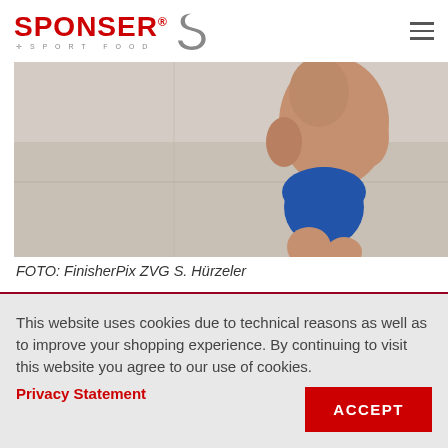[Figure (logo): SPONSER Sport Food logo with S icon]
[Figure (photo): Cropped photo of a runner in blue shorts on a light concrete surface, taken from low angle]
FOTO: FinisherPix ZVG S. Hürzeler
This website uses cookies due to technical reasons as well as to improve your shopping experience. By continuing to visit this website you agree to our use of cookies.
Privacy Statement